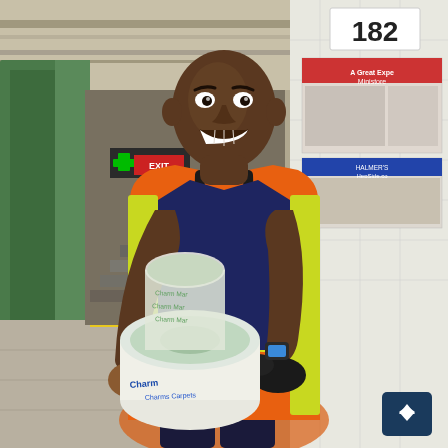[Figure (photo): A smiling man wearing an orange and yellow high-visibility safety vest labeled 'CONTRACTOR' in black letters, a navy blue t-shirt, black gloves, and a smartwatch, standing in a New York City subway station (with '182' visible on the tiled wall and an EXIT sign in the background). He is holding and unrolling a large roll of flooring material branded with 'Charm' branding. Advertising posters are visible on the right wall. A small dark navy square button with an upward arrow is overlaid in the bottom-right corner.]